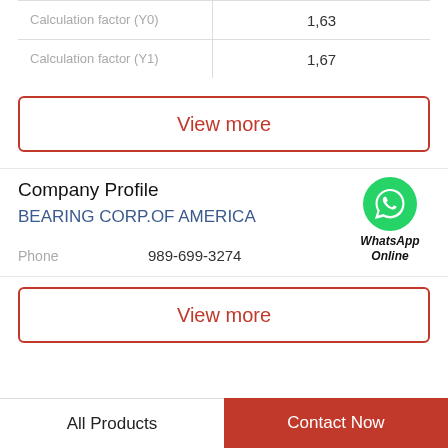|  |  |
| --- | --- |
| Calculation factor (Y0) | 1,63 |
| Calculation factor (Y1) | 1,67 |
View more
Company Profile
BEARING CORP.OF AMERICA
[Figure (logo): WhatsApp Online green circle phone icon with text WhatsApp Online]
Phone 989-699-3274
View more
All Products   Contact Now